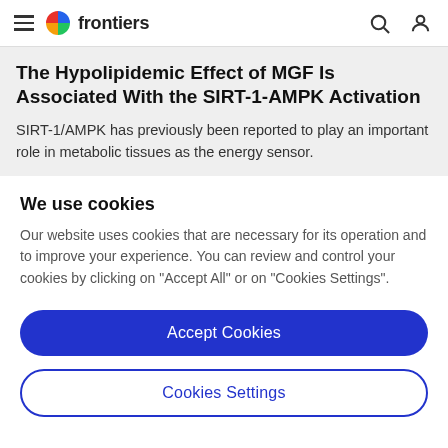frontiers
The Hypolipidemic Effect of MGF Is Associated With the SIRT-1-AMPK Activation
SIRT-1/AMPK has previously been reported to play an important role in metabolic tissues as the energy sensor.
We use cookies
Our website uses cookies that are necessary for its operation and to improve your experience. You can review and control your cookies by clicking on "Accept All" or on "Cookies Settings".
Accept Cookies
Cookies Settings